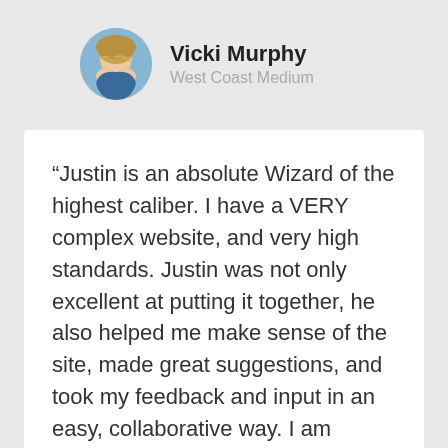[Figure (photo): Circular avatar photo of Vicki Murphy, a woman with blonde hair against a blue background]
Vicki Murphy
West Coast Medium
“Justin is an absolute Wizard of the highest caliber. I have a VERY complex website, and very high standards. Justin was not only excellent at putting it together, he also helped me make sense of the site, made great suggestions, and took my feedback and input in an easy, collaborative way. I am thrilled with his customer service and his speed. He is a rare gem in the web development space